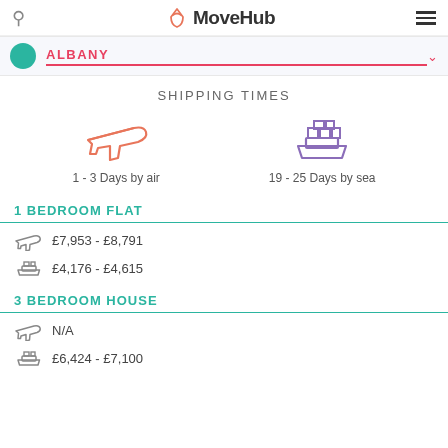MoveHub
ALBANY
SHIPPING TIMES
[Figure (infographic): Airplane icon (orange) with label '1 - 3 Days by air' and ship icon (purple) with label '19 - 25 Days by sea']
1 BEDROOM FLAT
£7,953 - £8,791
£4,176 - £4,615
3 BEDROOM HOUSE
N/A
£6,424 - £7,100